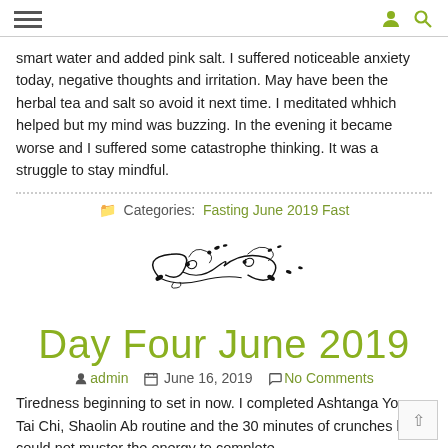☰ [hamburger menu] | [user icon] [search icon]
smart water and added pink salt. I suffered noticeable anxiety today, negative thoughts and irritation. May have been the herbal tea and salt so avoid it next time. I meditated whhich helped but my mind was buzzing. In the evening it became worse and I suffered some catastrophe thinking. It was a struggle to stay mindful.
Categories: Fasting June 2019 Fast
[Figure (illustration): Decorative floral/swirl divider illustration in black ink]
Day Four June 2019
admin  June 16, 2019  No Comments
Tiredness beginning to set in now. I completed Ashtanga Yoga, Tai Chi, Shaolin Ab routine and the 30 minutes of crunches but could not muster the energy to complete